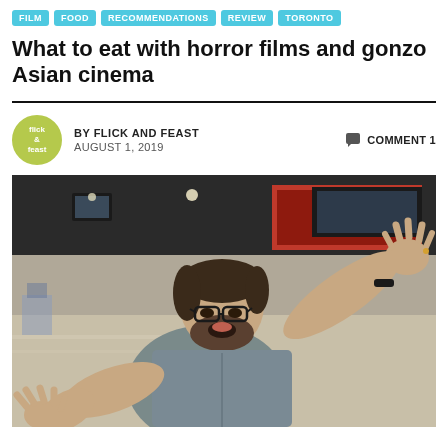FILM  FOOD  RECOMMENDATIONS  REVIEW  TORONTO
What to eat with horror films and gonzo Asian cinema
BY FLICK AND FEAST  AUGUST 1, 2019  COMMENT 1
[Figure (photo): A bearded man wearing glasses and a grey button-up shirt standing inside a cinema lobby with his arms raised and hands outstretched dramatically, mouth open as if surprised or excited. The background shows a cinema interior with red accents and overhead screens.]